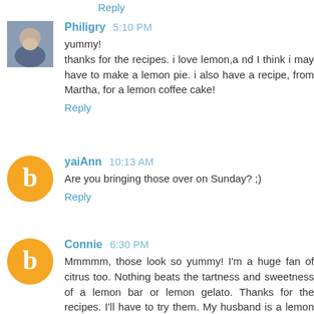Reply
Philigry  5:10 PM
yummy!
thanks for the recipes. i love lemon,a nd I think i may have to make a lemon pie. i also have a recipe, from Martha, for a lemon coffee cake!
Reply
yaiAnn  10:13 AM
Are you bringing those over on Sunday? ;)
Reply
Connie  6:30 PM
Mmmmm, those look so yummy! I'm a huge fan of citrus too. Nothing beats the tartness and sweetness of a lemon bar or lemon gelato. Thanks for the recipes. I'll have to try them. My husband is a lemon fan too!